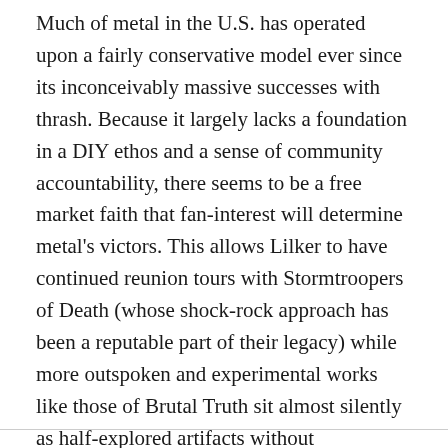Much of metal in the U.S. has operated upon a fairly conservative model ever since its inconceivably massive successes with thrash. Because it largely lacks a foundation in a DIY ethos and a sense of community accountability, there seems to be a free market faith that fan-interest will determine metal's victors. This allows Lilker to have continued reunion tours with Stormtroopers of Death (whose shock-rock approach has been a reputable part of their legacy) while more outspoken and experimental works like those of Brutal Truth sit almost silently as half-explored artifacts without expectation for these works to represent a larger political praxis. —Leah B. Levinson
Download links: FLAC | MP3